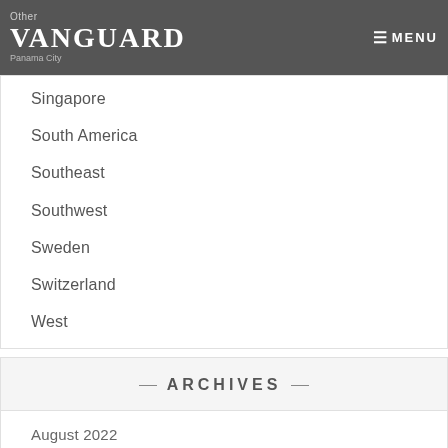Other | VANGUARD | Panama City | MENU
Singapore
South America
Southeast
Southwest
Sweden
Switzerland
West
— ARCHIVES —
August 2022
July 2022
June 2022